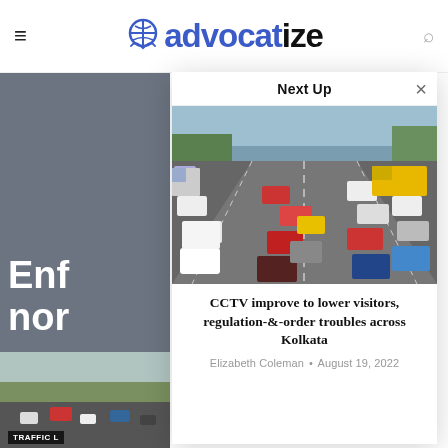advocatize
Next Up
[Figure (photo): Heavy traffic on a multi-lane highway with cars and trucks visible from an elevated angle]
CCTV improve to lower visitors, regulation-&-order troubles across Kolkata
Elizabeth Coleman • August 19, 2022